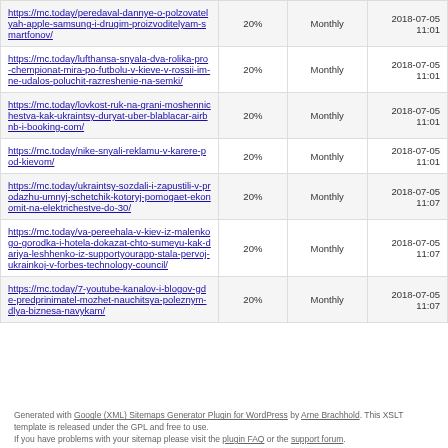| URL | Priority | Change Freq | Last Modified |
| --- | --- | --- | --- |
| https://mc.today/peredaval-dannye-o-polzovatelyah-apple-samsung-i-drugim-proizvoditelyam-smartfonov/ | 20% | Monthly | 2018-07-05 11:01 |
| https://mc.today/lufthansa-snyala-dva-rolika-pro-chempionat-mira-po-futbolu-v-kieve-v-rossii-im-ne-udalos-poluchit-razreshenie-na-semki/ | 20% | Monthly | 2018-07-05 11:01 |
| https://mc.today/lovkost-ruk-na-grani-moshennichestva-kak-ukraintsy-duryat-uber-blablacar-airbnb-i-booking-com/ | 20% | Monthly | 2018-07-05 11:01 |
| https://mc.today/nike-snyali-reklamu-v-karere-pod-kievom/ | 20% | Monthly | 2018-07-05 11:01 |
| https://mc.today/ukraintsy-sozdali-i-zapustili-v-prodazhu-umnyj-schetchik-kotoryj-pomogaet-ekonomit-na-elektrichestve-do-30/ | 20% | Monthly | 2018-07-05 11:07 |
| https://mc.today/va-pereehala-v-kiev-iz-malenkogo-gorodka-i-hotela-dokazat-chto-sumeyu-kak-dariya-leshhenko-iz-supportyourapp-stala-pervoj-ukrainkoj-v-forbes-technology-council/ | 20% | Monthly | 2018-07-05 11:07 |
| https://mc.today/7-youtube-kanalov-i-blogov-gde-predprinimatel-mozhet-nauchitsya-poleznym-dlya-biznesa-navykam/ | 20% | Monthly | 2018-07-05 11:07 |
Generated with Google (XML) Sitemaps Generator Plugin for WordPress by Arne Brachhold. This XSLT template is released under the GPL and free to use. If you have problems with your sitemap please visit the plugin FAQ or the support forum.